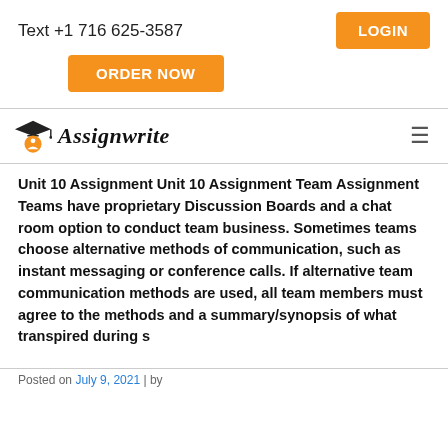Text +1 716 625-3587
LOGIN
ORDER NOW
[Figure (logo): Assignwrite logo with mortar board and orange figure icon, with italic bold text 'Assignwrite']
Unit 10 Assignment Unit 10 Assignment Team Assignment Teams have proprietary Discussion Boards and a chat room option to conduct team business. Sometimes teams choose alternative methods of communication, such as instant messaging or conference calls. If alternative team communication methods are used, all team members must agree to the methods and a summary/synopsis of what transpired during s
Posted on July 9, 2021 | by